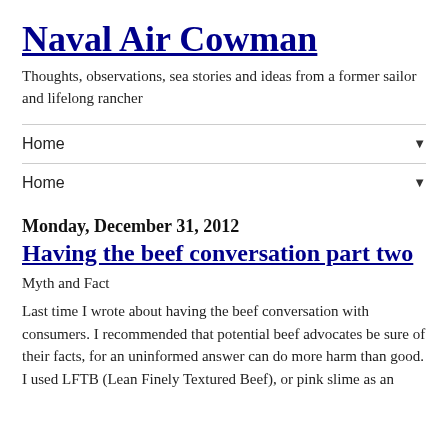Naval Air Cowman
Thoughts, observations, sea stories and ideas from a former sailor and lifelong rancher
Home ▼
Home ▼
Monday, December 31, 2012
Having the beef conversation part two
Myth and Fact
Last time I wrote about having the beef conversation with consumers. I recommended that potential beef advocates be sure of their facts, for an uninformed answer can do more harm than good. I used LFTB (Lean Finely Textured Beef), or pink slime as an